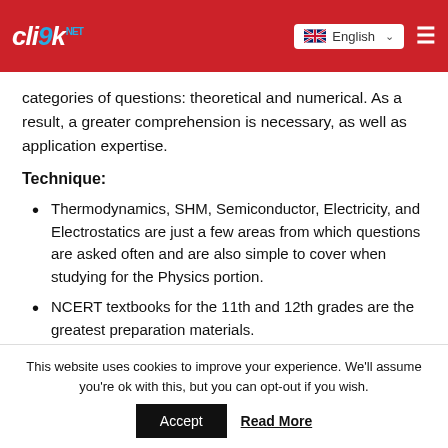clik.net | English
categories of questions: theoretical and numerical. As a result, a greater comprehension is necessary, as well as application expertise.
Technique:
Thermodynamics, SHM, Semiconductor, Electricity, and Electrostatics are just a few areas from which questions are asked often and are also simple to cover when studying for the Physics portion.
NCERT textbooks for the 11th and 12th grades are the greatest preparation materials.
This website uses cookies to improve your experience. We'll assume you're ok with this, but you can opt-out if you wish.